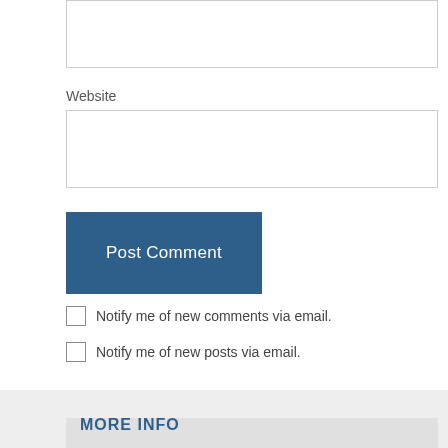Website
Post Comment
Notify me of new comments via email.
Notify me of new posts via email.
MORE INFO